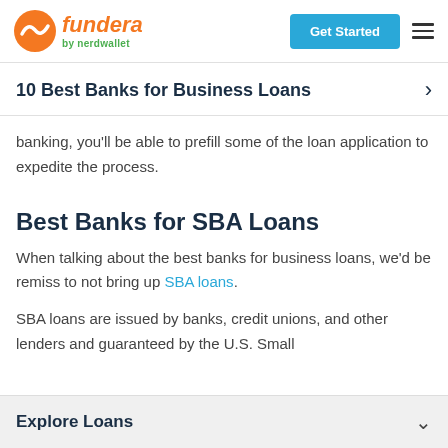[Figure (logo): Fundera by NerdWallet logo with orange wave icon and orange italic 'fundera' text, green 'by nerdwallet' subtext]
10 Best Banks for Business Loans
banking, you'll be able to prefill some of the loan application to expedite the process.
Best Banks for SBA Loans
When talking about the best banks for business loans, we'd be remiss to not bring up SBA loans.
SBA loans are issued by banks, credit unions, and other lenders and guaranteed by the U.S. Small
Explore Loans